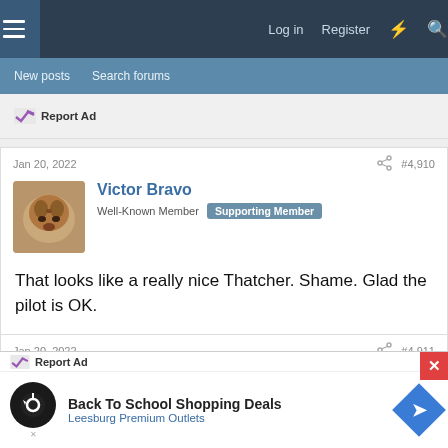Log in   Register
New posts   Search forums
Report Ad
Jan 20, 2022   #4,910
Victor Bravo
Well-Known Member   Supporting Member
That looks like a really nice Thatcher. Shame. Glad the pilot is OK.
Jan 20, 2022   #4,911
b7gwap
Well-Known Member
Report Ad
Back To School Shopping Deals
Leesburg Premium Outlets